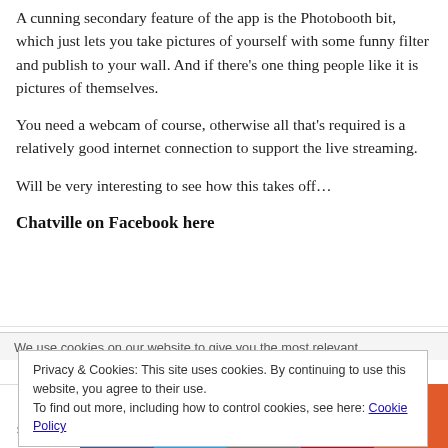A cunning secondary feature of the app is the Photobooth bit, which just lets you take pictures of yourself with some funny filter and publish to your wall. And if there's one thing people like it is pictures of themselves.
You need a webcam of course, otherwise all that's required is a relatively good internet connection to support the live streaming.
Will be very interesting to see how this takes off…
Chatville on Facebook here
We use cookies on our website to give you the most relevant
Privacy & Cookies: This site uses cookies. By continuing to use this website, you agree to their use.
To find out more, including how to control cookies, see here: Cookie Policy